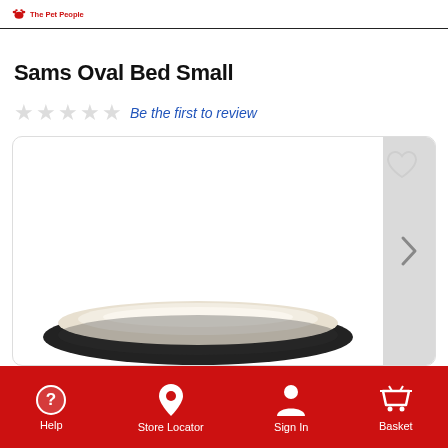The Pet People
Sams Oval Bed Small
★★★★★ Be the first to review
[Figure (photo): Product photo of a small oval pet bed with dark brown/black rim and cream sherpa interior, shown inside a rounded-corner card with a heart wishlist icon and a right navigation arrow]
Help  Store Locator  Sign In  Basket